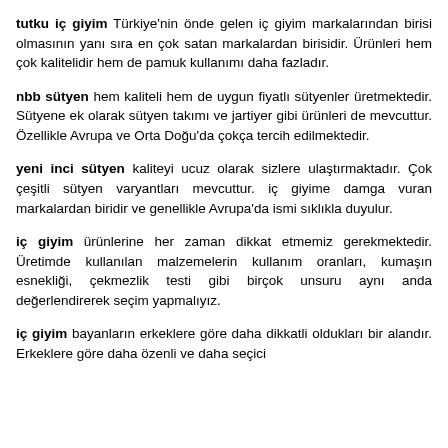tutku iç giyim Türkiye'nin önde gelen iç giyim markalarından birisi olmasının yanı sıra en çok satan markalardan birisidir. Ürünleri hem çok kalitelidir hem de pamuk kullanımı daha fazladır.
nbb sütyen hem kaliteli hem de uygun fiyatlı sütyenler üretmektedir. Sütyene ek olarak sütyen takımı ve jartiyer gibi ürünleri de mevcuttur. Özellikle Avrupa ve Orta Doğu'da çokça tercih edilmektedir.
yeni inci sütyen kaliteyi ucuz olarak sizlere ulaştırmaktadır. Çok çeşitli sütyen varyantları mevcuttur. iç giyime damga vuran markalardan biridir ve genellikle Avrupa'da ismi sıklıkla duyulur.
iç giyim ürünlerine her zaman dikkat etmemiz gerekmektedir. Üretimde kullanılan malzemelerin kullanım oranları, kumaşın esnekliği, çekmezlik testi gibi birçok unsuru aynı anda değerlendirerek seçim yapmalıyız.
iç giyim bayanların erkeklere göre daha dikkatli oldukları bir alandır. Erkeklere göre daha özenli ve daha seçici